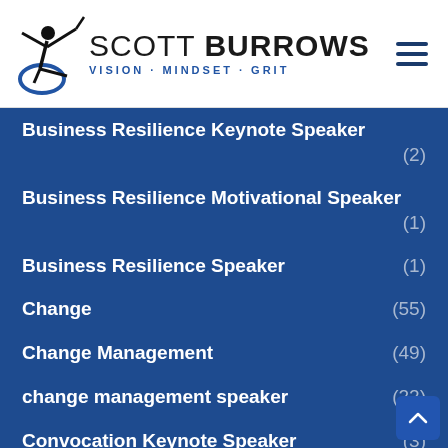[Figure (logo): Scott Burrows logo with a figure of a person on a wheelchair doing karate, text 'SCOTT BURROWS' and tagline 'VISION · MINDSET · GRIT']
Business Resilience Keynote Speaker (2)
Business Resilience Motivational Speaker (1)
Business Resilience Speaker (1)
Change (55)
Change Management (49)
change management speaker (22)
Convocation Keynote Speaker (3)
Customer Service Keynote Speaker (1)